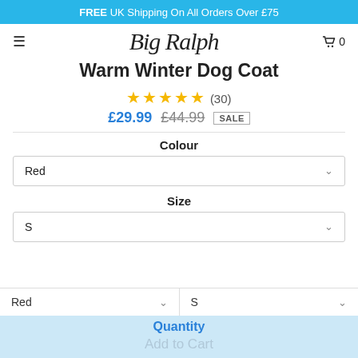FREE UK Shipping On All Orders Over £75
Big Ralph
Warm Winter Dog Coat
★★★★★ (30)
£29.99  £44.99  SALE
Colour
Red
Size
S
Quantity
Add to Cart